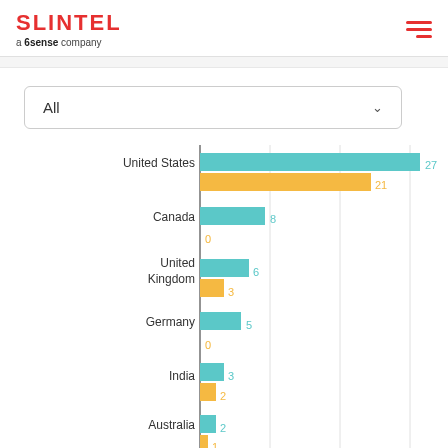[Figure (logo): SLINTEL logo with 'a 6sense company' tagline]
All
[Figure (grouped-bar-chart): Countries bar chart]